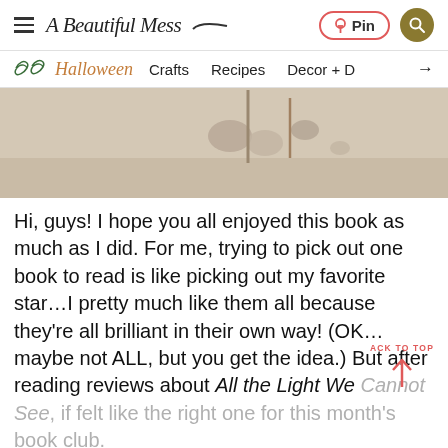A Beautiful Mess — Pin | Search
Halloween  Crafts  Recipes  Decor + D →
[Figure (photo): Close-up photo of small stones or pebbles on a light wooden surface with a stick or skewer, warm beige tones]
Hi, guys! I hope you all enjoyed this book as much as I did. For me, trying to pick out one book to read is like picking out my favorite star…I pretty much like them all because they're all brilliant in their own way! (OK… maybe not ALL, but you get the idea.) But after reading reviews about All the Light We Cannot See, if felt like the right one for this month's book club.